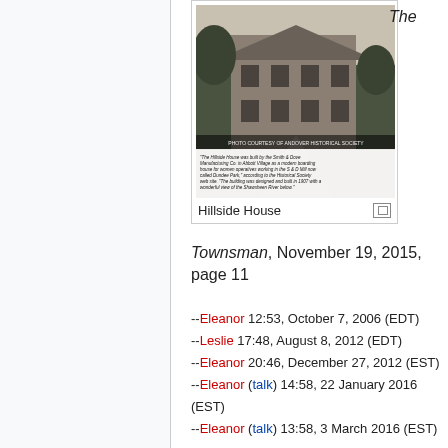[Figure (photo): Black and white photograph of Hillside House, a large multi-story building with trees. Caption reads: 'The Hillside House was built by the Smith & Dove Manufacturing Co. in Abbott Village as a modern boarding house for women operatives working in the S & D Mill now called Dundee Park,' according to the Historical Society web site. 'The building was designed and built in 1907 with a wonderful view of the Shawsheen River below.']
Hillside House
The Townsman, November 19, 2015, page 11
--Eleanor 12:53, October 7, 2006 (EDT)
--Leslie 17:48, August 8, 2012 (EDT)
--Eleanor 20:46, December 27, 2012 (EST)
--Eleanor (talk) 14:58, 22 January 2016 (EST)
--Eleanor (talk) 13:58, 3 March 2016 (EST)